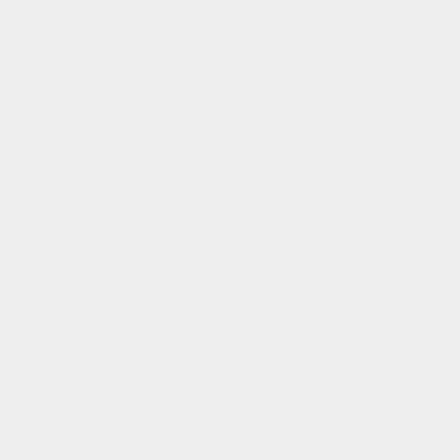specialty items based on the new additions. Enterprising players can build [[Tree Tap|tree taps]] and extract [[Bag_(PolyIsoPrene_Pellets)|natural rubber]] from trees to build rubber blocks, [[Pogo_Sti